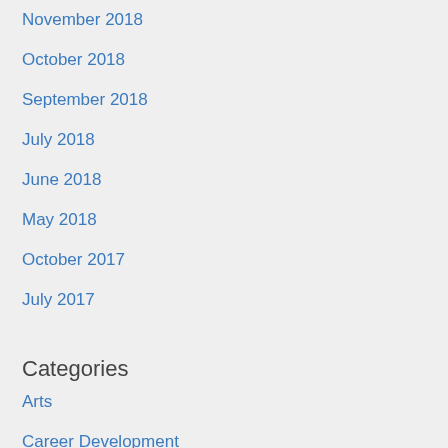November 2018
October 2018
September 2018
July 2018
June 2018
May 2018
October 2017
July 2017
Categories
Arts
Career Development
Career Resources
College Development